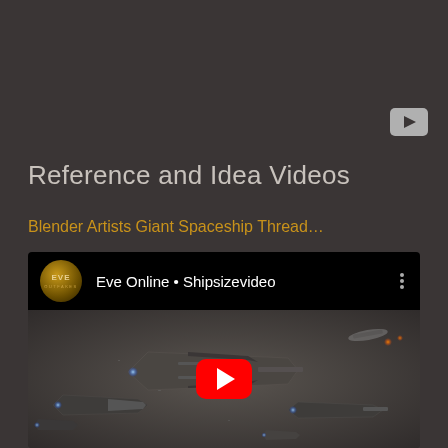[Figure (screenshot): YouTube icon button, small rectangular grey icon with play triangle]
Reference and Idea Videos
Blender Artists Giant Spaceship Thread…
[Figure (screenshot): Embedded YouTube video player showing Eve Online Shipsizevideo with EVE Outfakes logo and spaceship thumbnail with red play button]